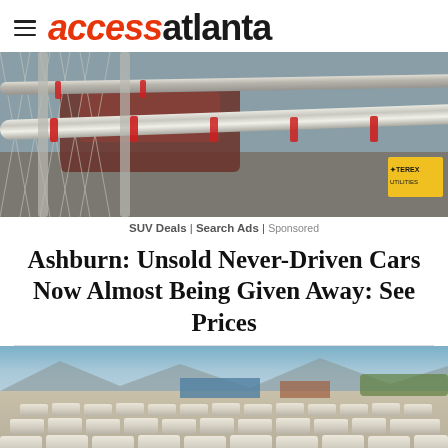access atlanta
[Figure (photo): Photo of a chain-link fence with metal pipes/rails, a dark red vehicle visible behind it, and a TEREX branded yellow construction equipment partially visible on the right side.]
SUV Deals | Search Ads | Sponsored
Ashburn: Unsold Never-Driven Cars Now Almost Being Given Away: See Prices
[Figure (photo): Aerial/ground-level photo of a large lot filled with rows of white unsold cars packed closely together, with mountains and blue sky visible in the background.]